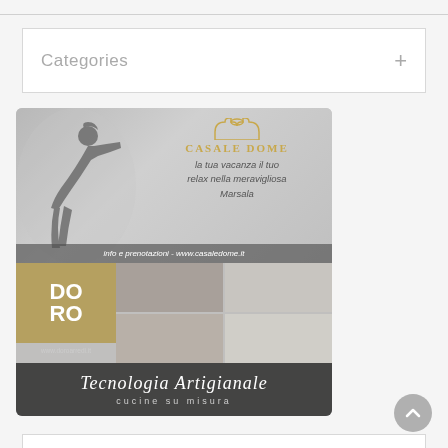Categories
[Figure (photo): Two stacked advertisement images. Top: Casale Dome vacation rental ad in Marsala with a silhouette of a woman pointing, logo, and tagline 'la tua vacanza il tuo relax nella meravigliosa Marsala', with footer 'info e prenotazioni - www.casaledome.it'. Bottom: Doro Arredi kitchen furniture ad with DORO logo in gold, food/kitchen imagery grid, and text 'Tecnologia Artigianale cucine su misura', with URL www.doroarredi.it]
[Figure (other): Scroll-to-top button (circular gray button with upward chevron arrow)]